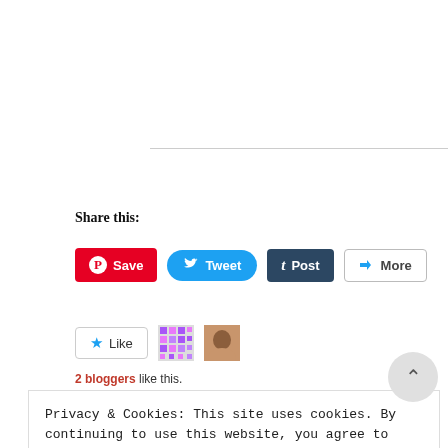Share this:
[Figure (screenshot): Social share buttons: Save (Pinterest, red), Tweet (Twitter, blue rounded), Post (Tumblr, dark), More (grey outline)]
[Figure (screenshot): Like button with star icon, and two blogger avatars (mosaic pattern and photo)]
2 bloggers like this.
Privacy & Cookies: This site uses cookies. By continuing to use this website, you agree to their use. To find out more, including how to control cookies, see here: Cookie Policy
CLOSE AND ACCEPT
In "skincare"